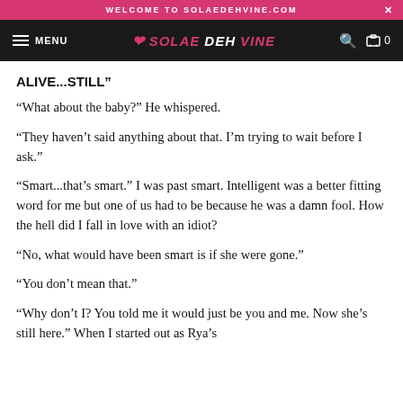WELCOME TO SOLAEDEHVINE.COM
MENU | SOLAE DEHVINE | 0
ALIVE...STILL"
“What about the baby?” He whispered.
“They haven’t said anything about that. I’m trying to wait before I ask.”
“Smart...that’s smart.” I was past smart. Intelligent was a better fitting word for me but one of us had to be because he was a damn fool. How the hell did I fall in love with an idiot?
“No, what would have been smart is if she were gone.”
“You don’t mean that.”
“Why don’t I? You told me it would just be you and me. Now she’s still here.” When I started out as Rya’s